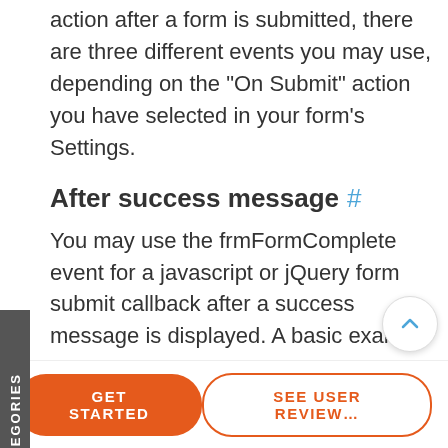action after a form is submitted, there are three different events you may use, depending on the "On Submit" action you have selected in your form's Settings.
After success message #
You may use the frmFormComplete event for a javascript or jQuery form submit callback after a success message is displayed. A basic example is shown below.
<script>
jQuery(document).ready(function($){